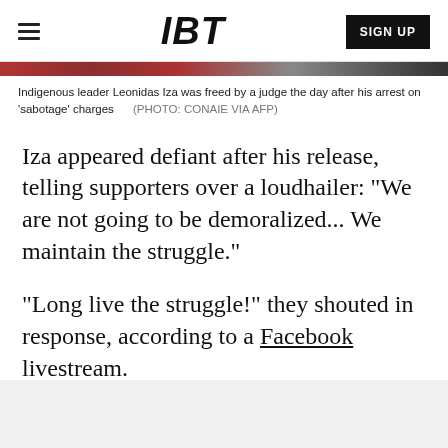IBT | SIGN UP
Indigenous leader Leonidas Iza was freed by a judge the day after his arrest on 'sabotage' charges    (PHOTO: CONAIE VIA AFP)
Iza appeared defiant after his release, telling supporters over a loudhailer: "We are not going to be demoralized... We maintain the struggle."
"Long live the struggle!" they shouted in response, according to a Facebook livestream.